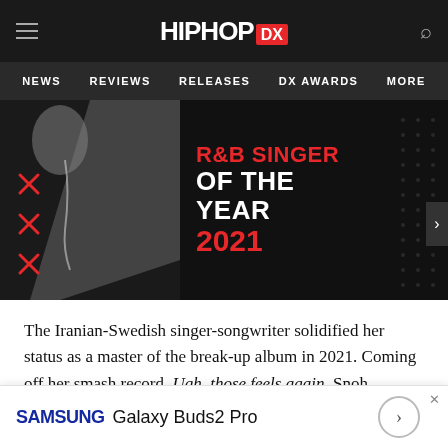HipHopDX — NEWS | REVIEWS | RELEASES | DX AWARDS | MORE
[Figure (illustration): R&B Singer of the Year 2021 promotional image with dark background, artistic figure silhouette on left, red X marks, and text overlay: R&B SINGER OF THE YEAR 2021]
The Iranian-Swedish singer-songwriter solidified her status as a master of the break-up album in 2021. Coming off her smash record, Ugh, those feels again, Snoh capitalized off the momentum with her third studio album, Temporary Highs in the Violet Skies. It was another confessional masterpiece, with Snoh wielding her vulnerability to share vital lessons that she's picked up following heartbreak and loss. There's a reason why...
[Figure (screenshot): Samsung Galaxy Buds2 Pro advertisement banner at the bottom of the page]